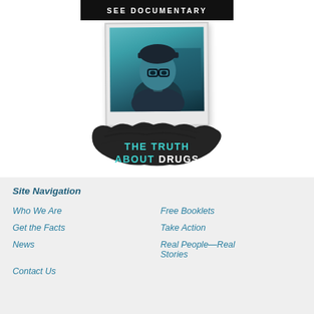SEE DOCUMENTARY
[Figure (photo): Polaroid-style photo of a young man wearing glasses and a cap, with teal/dark toning, overlaid on a black scratch/grunge background with text 'THE TRUTH ABOUT DRUGS']
Site Navigation
Who We Are
Free Booklets
Get the Facts
Take Action
News
Real People—Real Stories
Contact Us